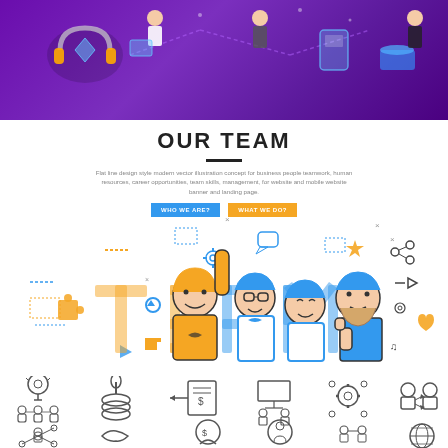[Figure (illustration): Purple/violet banner with isometric illustration of people working with technology, headphones, smartphone, laptop, connected by lines]
OUR TEAM
Flat line design style modern vector illustration concept for business people teamwork, human resources, career opportunities, team skills, management, for website and mobile website banner and landing page.
[Figure (illustration): Two buttons: WHO WE ARE? (blue) and WHAT WE DO? (yellow/orange)]
[Figure (illustration): Flat line illustration of a diverse team of four people with raised hands, surrounding large stylized TEAM text in yellow and blue, with various icons (chat bubble, gears, star, share, puzzle piece, thumbs up, music notes) scattered around]
[Figure (illustration): Two rows of outline icons representing business and teamwork concepts: lightbulb with team, hand on money stack, dollar transfer, people meeting, interconnected gears with people, two people with arrows, connected nodes with person, handshake, fist with coin, lightbulb with person, team exchange, globe]